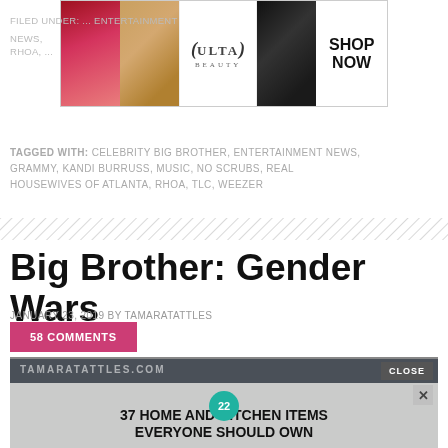[Figure (photo): Ulta Beauty advertisement banner with images of lips, makeup brush, Ulta logo, eyes, and SHOP NOW text]
FILED UNDER: ... ENTERTAINMENT NEWS, RHOA, ...
TAGGED WITH: CELEBRITY BIG BROTHER, ENTERTAINMENT NEWS, GRAMMY, KANDI BURRUSS, MUSIC, NO SCRUBS, REAL HOUSEWIVES OF ATLANTA, RHOA, TLC, WEEZER
[Figure (illustration): Diagonal hash/stripe divider element]
Big Brother: Gender Wars
JANUARY 23, 2019 BY TAMARATATTLES
58 COMMENTS
[Figure (photo): Bottom portion of page showing TAMARATATTLES.COM watermark and an advertisement overlay for '37 Home and Kitchen Items Everyone Should Own' featuring Mueller brand with dumbbells image and a CLOSE button]